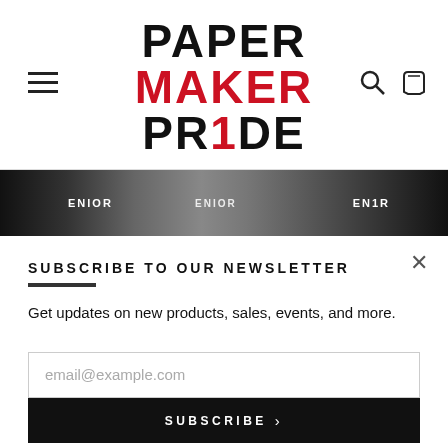[Figure (logo): Paper Maker Pride logo with PAPER in black, MAKER in red, PR1DE in black with red 1]
[Figure (photo): Photo strip showing people wearing SENIOR jerseys/clothing]
SUBSCRIBE TO OUR NEWSLETTER
Get updates on new products, sales, events, and more.
[Figure (screenshot): Email subscription form with email@example.com placeholder input and SUBSCRIBE button]